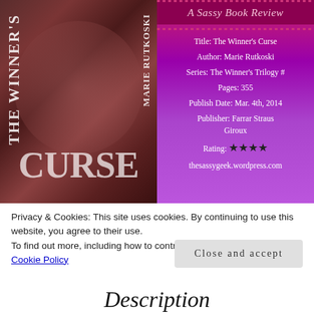[Figure (illustration): Book cover of 'The Winner's Curse' by Marie Rutkoski, dark reddish-brown background with ornate decorative elements and title text]
[Figure (infographic): Book review panel with purple/magenta gradient background, 'A Sassy Book Review' header, book details and 4-star rating]
Privacy & Cookies: This site uses cookies. By continuing to use this website, you agree to their use.
To find out more, including how to control cookies, see here:
Cookie Policy
Close and accept
Description